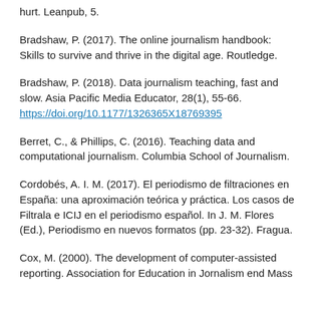hurt. Leanpub, 5.
Bradshaw, P. (2017). The online journalism handbook: Skills to survive and thrive in the digital age. Routledge.
Bradshaw, P. (2018). Data journalism teaching, fast and slow. Asia Pacific Media Educator, 28(1), 55-66. https://doi.org/10.1177/1326365X18769395
Berret, C., & Phillips, C. (2016). Teaching data and computational journalism. Columbia School of Journalism.
Cordobés, A. I. M. (2017). El periodismo de filtraciones en España: una aproximación teórica y práctica. Los casos de Filtrala e ICIJ en el periodismo español. In J. M. Flores (Ed.), Periodismo en nuevos formatos (pp. 23-32). Fragua.
Cox, M. (2000). The development of computer-assisted reporting. Association for Education in Jornalism end Mass